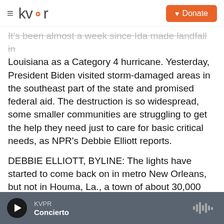KVPR — Donate
It's been almost a week since Ida made landfall in Louisiana as a Category 4 hurricane. Yesterday, President Biden visited storm-damaged areas in the southeast part of the state and promised federal aid. The destruction is so widespread, some smaller communities are struggling to get the help they need just to care for basic critical needs, as NPR's Debbie Elliott reports.
DEBBIE ELLIOTT, BYLINE: The lights have started to come back on in metro New Orleans, but not in Houma, La., a town of about 30,000 people southwest of the city. Hurricane Ida's winds ripped the...
KVPR — Concierto